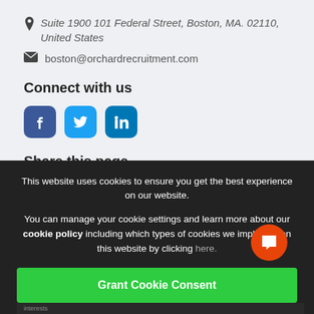Suite 1900 101 Federal Street, Boston, MA. 02110, United States
boston@orchardrecruitment.com
Connect with us
[Figure (other): Social media icons: Facebook, Twitter, LinkedIn]
Share this page
This website uses cookies to ensure you get the best experience on our website.
You can manage your cookie settings and learn more about our cookie policy including which types of cookies we impliment on this website by clicking here.
Grant Cookie Consent